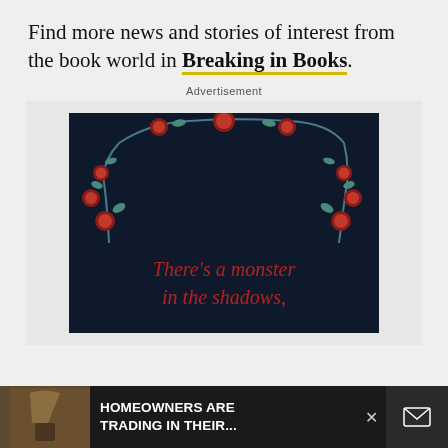Find more news and stories of interest from the book world in Breaking in Books.
Advertisement
[Figure (illustration): Book cover with dark navy background, red roses and blue-grey vines decorative border at top, italic red text reading 'There's a monster in the shadows,']
HOMEOWNERS ARE TRADING IN THEIR...